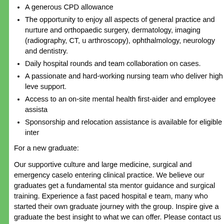A generous CPD allowance
The opportunity to enjoy all aspects of general practice and nurture and orthopaedic surgery, dermatology, imaging (radiography, CT, u arthroscopy), ophthalmology, neurology and dentistry.
Daily hospital rounds and team collaboration on cases.
A passionate and hard-working nursing team who deliver high level support.
Access to an on-site mental health first-aider and employee assista
Sponsorship and relocation assistance is available for eligible inter
For a new graduate:
Our supportive culture and large medicine, surgical and emergency caselo entering clinical practice. We believe our graduates get a fundamental sta mentor guidance and surgical training. Experience a fast paced hospital e team, many who started their own graduate journey with the group. Inspire give a graduate the best insight to what we can offer. Please contact us fo
Our equipment includes CT, Digital X-ray facilities, fluoroscopy, full IDEXX monitoring equipment including capnography, ECG, video endoscopy, bro Doppler ultrasound, TTO equipment and full IM3 dental suite.
Adelaide is listed as one of the most liveable cities. Our sites are located w famous wine regions and the CBD with its thriving education, arts, sport a events throughout the year including Adelaide Fringe, Clipsal 500, WOMA
Whether you are already in practice and seeking a change, newly graduat you are the right fit to join our enthusiastic and growing team then we wou to arrange a visit or to apply, please email a resume and cover letter for th to admin@southvet.com.au